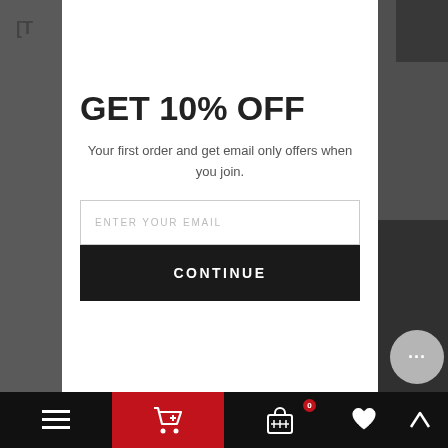[T
[Figure (screenshot): E-commerce website screenshot visible in background behind modal popup, showing a product page with dark elements and blurred text.]
GET 10% OFF
Your first order and get email only offers when you join.
ENTER YOUR EMAIL
CONTINUE
[Figure (other): Chat/messaging button - circular grey button with three dots (ellipsis) icon]
[Figure (other): Bottom navigation bar with hamburger menu, shopping cart (red background), bag with badge showing 0, heart icon, and up arrow icon]